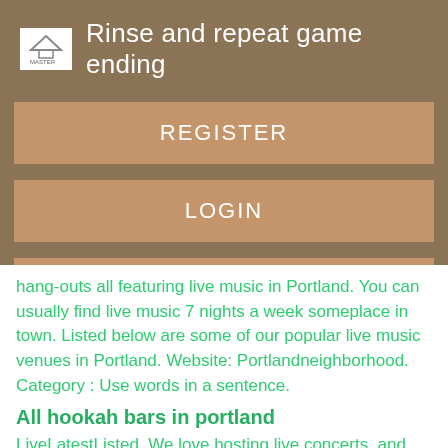[Figure (logo): Small logo icon with stylized roof/mountain shape and text 'MASTER' beneath it, white background]
Rinse and repeat game ending
REGISTER
LOGIN
CONTACT US
hang-outs all featuring live music in Portland. You can usually find live music 7 nights a week someplace in town. Listed below are some of our popular live music venues in Portland. Website: Portlandneighborhood. Category : Use words in a sentence.
All hookah bars in portland
LiveLatestListed. We love hosting live concerts, and bringing the energy of a live band to create a fun party every night of the